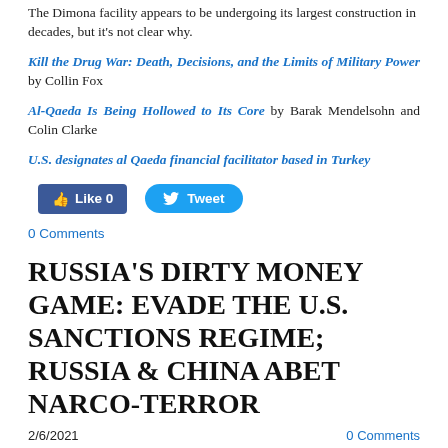The Dimona facility appears to be undergoing its largest construction in decades, but it's not clear why.
Kill the Drug War: Death, Decisions, and the Limits of Military Power by Collin Fox
Al-Qaeda Is Being Hollowed to Its Core by Barak Mendelsohn and Colin Clarke
U.S. designates al Qaeda financial facilitator based in Turkey
[Figure (screenshot): Social media buttons: Facebook Like 0 and Twitter Tweet]
0 Comments
RUSSIA'S DIRTY MONEY GAME: EVADE THE U.S. SANCTIONS REGIME; RUSSIA & CHINA ABET NARCO-TERROR
2/6/2021
0 Comments